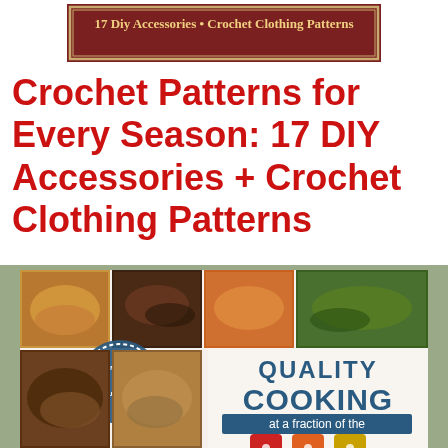[Figure (illustration): Book banner/header image showing text '17 Diy Accessories • Crochet Clothing Patterns' on a dark red background with decorative border]
Crochet Patterns for Every Season: 17 DIY Accessories + Crochet Clothing Patterns
[Figure (photo): Book cover for 'Quality Cooking at a fraction of the' showing a collage of food photos, a badge labeled 'LOSS LEADER', and colorful price tag graphics at the bottom]